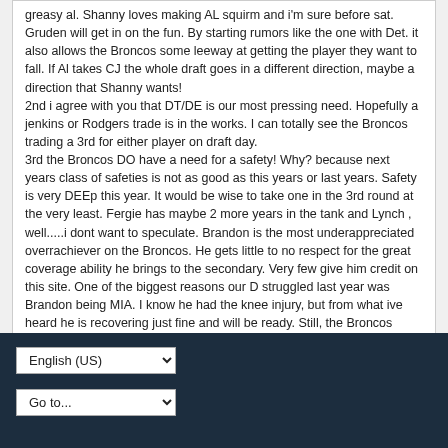greasy al. Shanny loves making AL squirm and i'm sure before sat. Gruden will get in on the fun. By starting rumors like the one with Det. it also allows the Broncos some leeway at getting the player they want to fall. If Al takes CJ the whole draft goes in a different direction, maybe a direction that Shanny wants!
2nd i agree with you that DT/DE is our most pressing need. Hopefully a jenkins or Rodgers trade is in the works. I can totally see the Broncos trading a 3rd for either player on draft day.
3rd the Broncos DO have a need for a safety! Why? because next years class of safeties is not as good as this years or last years. Safety is very DEEp this year. It would be wise to take one in the 3rd round at the very least. Fergie has maybe 2 more years in the tank and Lynch , well.....i dont want to speculate. Brandon is the most underappreciated overrachiever on the Broncos. He gets little to no respect for the great coverage ability he brings to the secondary. Very few give him credit on this site. One of the biggest reasons our D struggled last year was Brandon being MIA. I know he had the knee injury, but from what ive heard he is recovering just fine and will be ready. Still, the Broncos could use 1 of the talented safeties to bulk up at the position. Not a 1st rounder though IMHO.
English (US)
Go to...